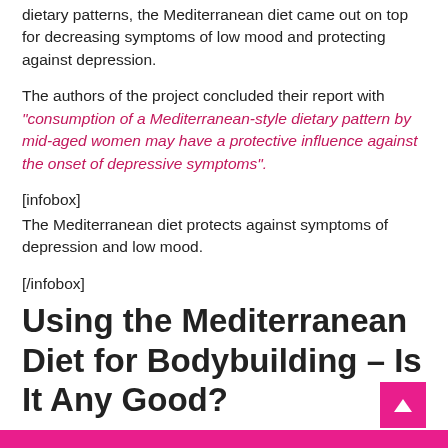dietary patterns, the Mediterranean diet came out on top for decreasing symptoms of low mood and protecting against depression.
The authors of the project concluded their report with "consumption of a Mediterranean-style dietary pattern by mid-aged women may have a protective influence against the onset of depressive symptoms".
[infobox]
The Mediterranean diet protects against symptoms of depression and low mood.
[/infobox]
Using the Mediterranean Diet for Bodybuilding – Is It Any Good?